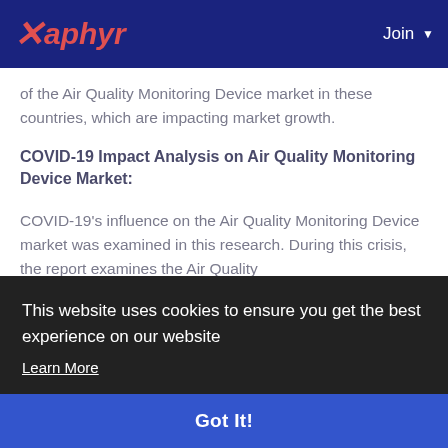Xaphyr | Join
of the Air Quality Monitoring Device market in these countries, which are impacting market growth.
COVID-19 Impact Analysis on Air Quality Monitoring Device Market:
COVID-19's influence on the Air Quality Monitoring Device market was examined in this research. During this crisis, the report examines the Air Quality
This website uses cookies to ensure you get the best experience on our website
Learn More
Got It!